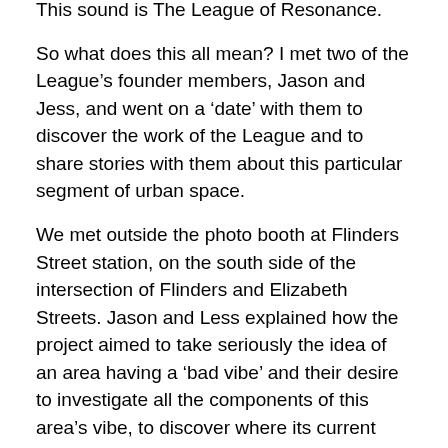This sound is The League of Resonance.
So what does this all mean? I met two of the League's founder members, Jason and Jess, and went on a 'date' with them to discover the work of the League and to share stories with them about this particular segment of urban space.
We met outside the photo booth at Flinders Street station, on the south side of the intersection of Flinders and Elizabeth Streets. Jason and Less explained how the project aimed to take seriously the idea of an area having a 'bad vibe' and their desire to investigate all the components of this area's vibe, to discover where its current vibrations come from. These investigations have been historical, aesthetic, architectural, sociological and ethnographic: they have uncovered information about the